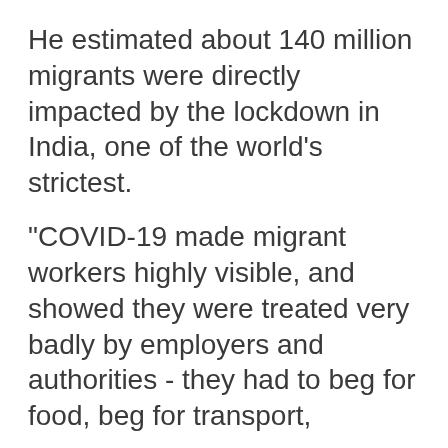He estimated about 140 million migrants were directly impacted by the lockdown in India, one of the world's strictest.
"COVID-19 made migrant workers highly visible, and showed they were treated very badly by employers and authorities - they had to beg for food, beg for transport,
We use cookies
We use cookies and other tracking technologies to improve your browsing experience on our website, to show you personalized content and targeted ads, to analyze our website traffic, and to understand where our visitors are coming from.